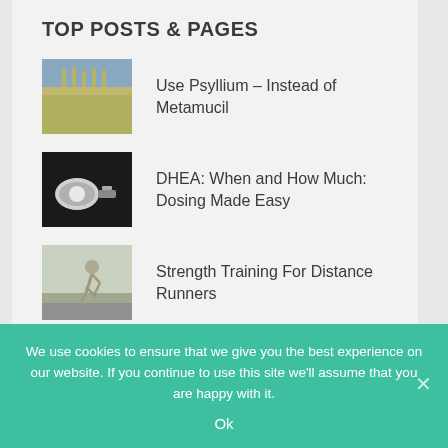TOP POSTS & PAGES
Use Psyllium – Instead of Metamucil
DHEA: When and How Much: Dosing Made Easy
Strength Training For Distance Runners
Emmenagogues: Are they or are they not?
We use cookies to ensure that we give you the best experience on our website. If you continue to use this site we'll assume that you are happy with it.
Ok